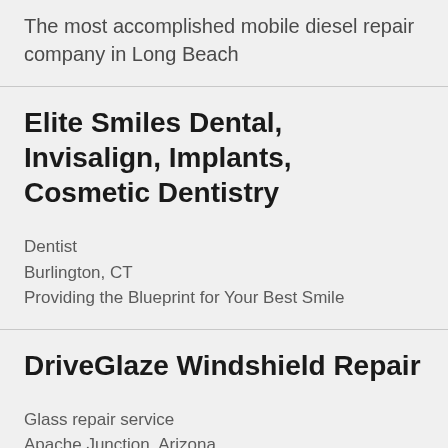The most accomplished mobile diesel repair company in Long Beach
Elite Smiles Dental, Invisalign, Implants, Cosmetic Dentistry
Dentist
Burlington, CT
Providing the Blueprint for Your Best Smile
DriveGlaze Windshield Repair
Glass repair service
Apache Junction, Arizona
Windshield and glass replacement and